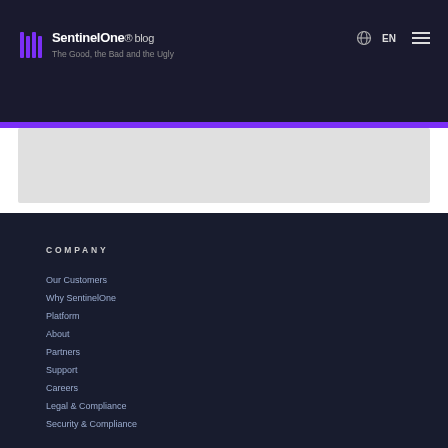SentinelOne blog — The Good, the Bad and the Ugly
COMPANY
Our Customers
Why SentinelOne
Platform
About
Partners
Support
Careers
Legal & Compliance